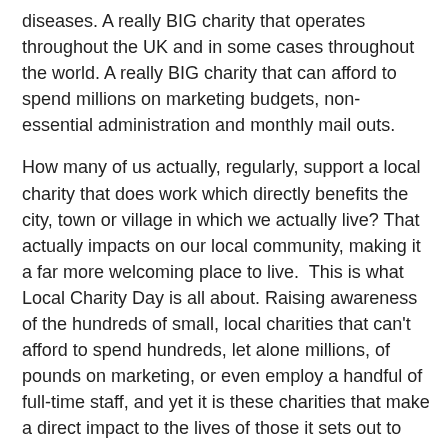diseases. A really BIG charity that operates throughout the UK and in some cases throughout the world. A really BIG charity that can afford to spend millions on marketing budgets, non-essential administration and monthly mail outs.
How many of us actually, regularly, support a local charity that does work which directly benefits the city, town or village in which we actually live? That actually impacts on our local community, making it a far more welcoming place to live. This is what Local Charity Day is all about. Raising awareness of the hundreds of small, local charities that can't afford to spend hundreds, let alone millions, of pounds on marketing, or even employ a handful of full-time staff, and yet it is these charities that make a direct impact to the lives of those it sets out to support.